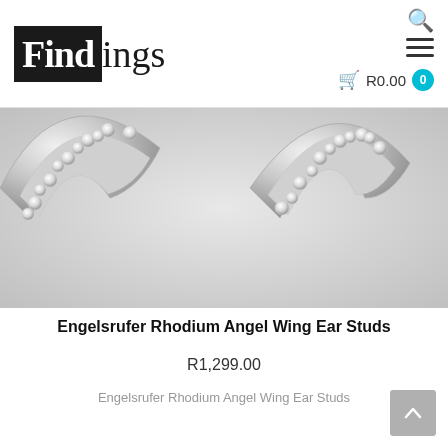[Figure (logo): Findings jewelry store logo — black box with white 'Find' text followed by 'ings' in dark serif font]
[Figure (photo): Close-up photo of Engelsrufer Rhodium Angel Wing Ear Studs — silver rhodium-plated earrings with rows of sparkling crystals in a wing/arc shape on a light gray background]
Engelsrufer Rhodium Angel Wing Ear Studs
R1,299.00
Engelsrufer Rhodium Angel Wing Ear Studs